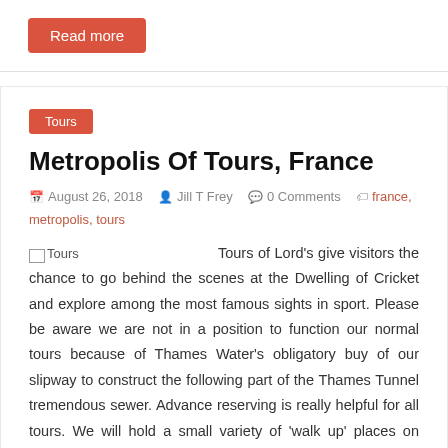Read more
Tours
Metropolis Of Tours, France
August 26, 2018   Jill T Frey   0 Comments   france, metropolis, tours
Tours of Lord's give visitors the chance to go behind the scenes at the Dwelling of Cricket and explore among the most famous sights in sport. Please be aware we are not in a position to function our normal tours because of Thames Water's obligatory buy of our slipway to construct the following part of the Thames Tunnel tremendous sewer. Advance reserving is really helpful for all tours. We will hold a small variety of 'walk up' places on each non-matchday tour, but if the tour is bought out, we are unable